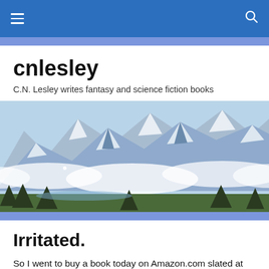cnlesley navigation bar
cnlesley
C.N. Lesley writes fantasy and science fiction books
[Figure (photo): Snow-capped mountain peaks partially obscured by low clouds and mist, with pine trees in the foreground and a lake visible at the base of the mountains.]
Irritated.
So I went to buy a book today on Amazon.com slated at the kindle price of $3.99. When I get there, I find it is listed